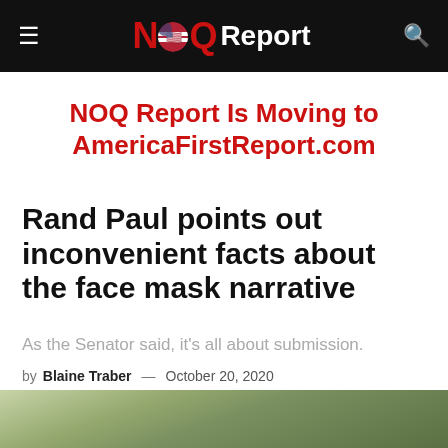NOQ Report
NOQ Report Is Moving to AmericaFirstReport.com
Rand Paul points out inconvenient facts about the face mask narrative
As the Senator said, it's all about submission.
by Blaine Traber — October 20, 2020
[Figure (photo): Partial photo visible at bottom of page, appears to show an outdoor scene with green/natural tones]